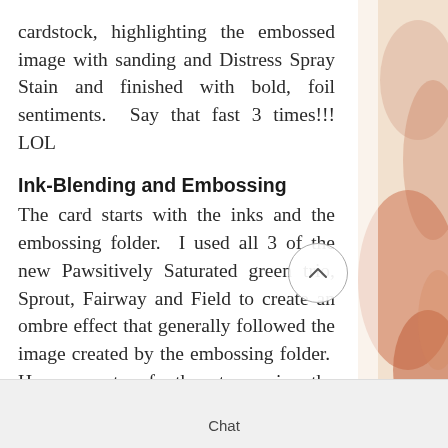cardstock, highlighting the embossed image with sanding and Distress Spray Stain and finished with bold, foil sentiments.  Say that fast 3 times!!! LOL
Ink-Blending and Embossing
The card starts with the inks and the embossing folder.  I used all 3 of the new Pawsitively Saturated green trio, Sprout, Fairway and Field to create an ombre effect that generally followed the image created by the embossing folder.  Here, most of the trees in the background and darker and out of the "lake area" is in the foreground
Chat